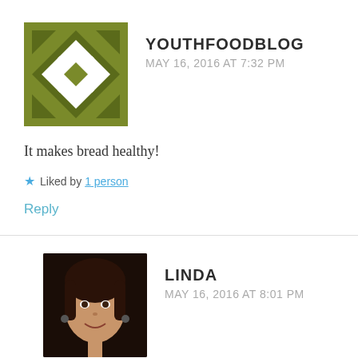[Figure (logo): YouthFoodBlog avatar: olive/khaki green square with white diamond pattern]
YOUTHFOODBLOG
MAY 16, 2016 AT 7:32 PM
It makes bread healthy!
★ Liked by 1 person
Reply
[Figure (photo): Linda avatar: photo of a woman with dark hair, smiling]
LINDA
MAY 16, 2016 AT 8:01 PM
Yea! 🙂
★ Like